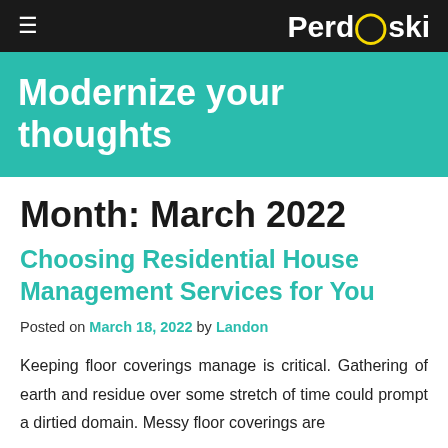≡  Perdoski
Modernize your thoughts
Month: March 2022
Choosing Residential House Management Services for You
Posted on March 18, 2022 by Landon
Keeping floor coverings manage is critical. Gathering of earth and residue over some stretch of time could prompt a dirtied domain. Messy floor coverings are